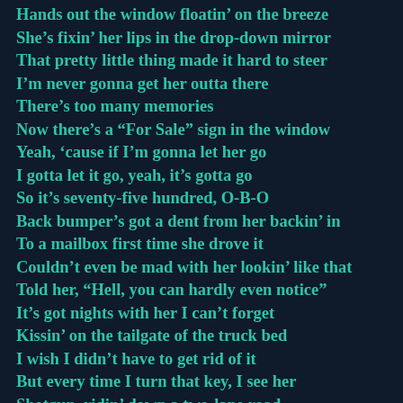Hands out the window floatin' on the breeze
She's fixin' her lips in the drop-down mirror
That pretty little thing made it hard to steer
I'm never gonna get her outta there
There's too many memories
Now there's a “For Sale” sign in the window
Yeah, ‘cause if I’m gonna let her go
I gotta let it go, yeah, it’s gotta go
So it’s seventy-five hundred, O-B-O
Back bumper’s got a dent from her backin’ in
To a mailbox first time she drove it
Couldn’t even be mad with her lookin’ like that
Told her, “Hell, you can hardly even notice”
It’s got nights with her I can’t forget
Kissin’ on the tailgate of the truck bed
I wish I didn’t have to get rid of it
But every time I turn that key, I see her
Shotgun, ridin’ down a two-lane road